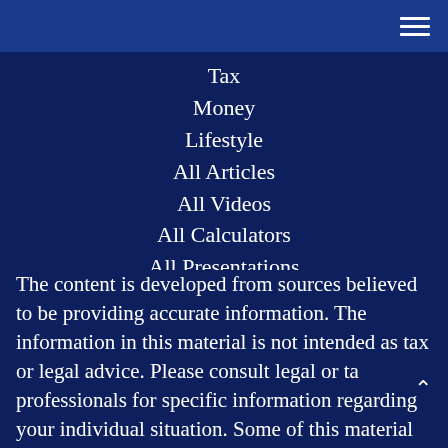Tax
Money
Lifestyle
All Articles
All Videos
All Calculators
All Presentations
The content is developed from sources believed to be providing accurate information. The information in this material is not intended as tax or legal advice. Please consult legal or ta professionals for specific information regarding your individual situation. Some of this material